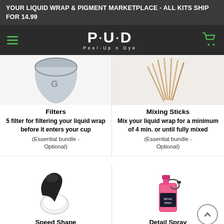YOUR LIQUID WRAP & PIGMENT MARKETPLACE - ALL KITS SHIP FOR 14.99
[Figure (logo): Peel-Up n Dye logo with hamburger menu and shopping cart on dark background]
[Figure (photo): Gray cup/filter accessory product image]
[Figure (photo): Mixing sticks / wooden skewers product image]
Filters
5 filter for filtering your liquid wrap before it enters your cup
(Essential bundle - Optional)
Mixing Sticks
Mix your liquid wrap for a minimum of 4 min. or until fully mixed
(Essential bundle - Optional)
[Figure (photo): Speed Shape black and white tool product image]
[Figure (photo): Detail Spray pink spray bottle product image]
Speed Shape
Detail Spray